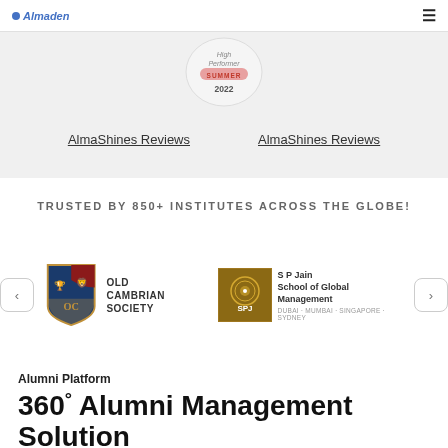Almaden | ≡
[Figure (illustration): G2 High Performer Summer 2022 badge, partially visible at top]
AlmaShines Reviews   AlmaShines Reviews
TRUSTED BY 850+ INSTITUTES ACROSS THE GLOBE!
[Figure (logo): Old Cambrian Society shield logo with lion and human figure, and SP Jain School of Global Management logo with text DUBAI · MUMBAI · SINGAPORE · SYDNEY]
Alumni Platform
360° Alumni Management Solution
Comprehensive alumni management solution that helps institutions connect, engage, manage and